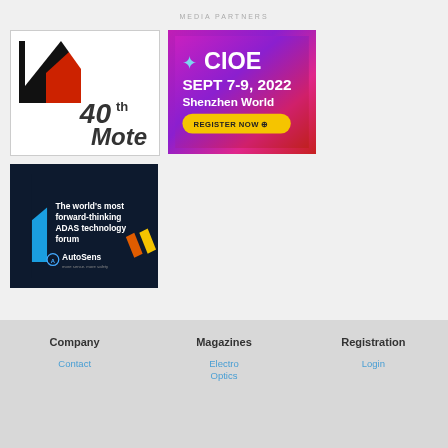MEDIA PARTNERS
[Figure (logo): 40th Motec event logo - black white and red stylized number with text '40th Mote']
[Figure (logo): CIOE conference logo - Sept 7-9, 2022 Shenzhen World, Register Now button on purple/magenta background]
[Figure (logo): AutoSens ADAS technology forum logo on dark navy background with text 'The world's most forward-thinking ADAS technology forum']
Company
Magazines
Registration
Contact
Electro Optics
Login